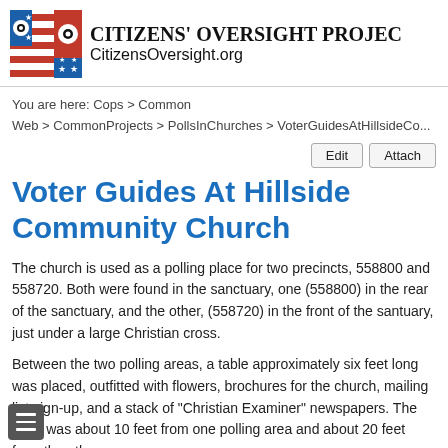CITIZENS' OVERSIGHT PROJECT CitizensOversight.org
You are here: Cops > Common Web > CommonProjects > PollsInChurches > VoterGuidesAtHillsideCo...
Voter Guides At Hillside Community Church
The church is used as a polling place for two precincts, 558800 and 558720. Both were found in the sanctuary, one (558800) in the rear of the sanctuary, and the other, (558720) in the front of the santuary, just under a large Christian cross.
Between the two polling areas, a table approximately six feet long was placed, outfitted with flowers, brochures for the church, mailing list sign-up, and a stack of "Christian Examiner" newspapers. The table was about 10 feet from one polling area and about 20 feet from the other one.